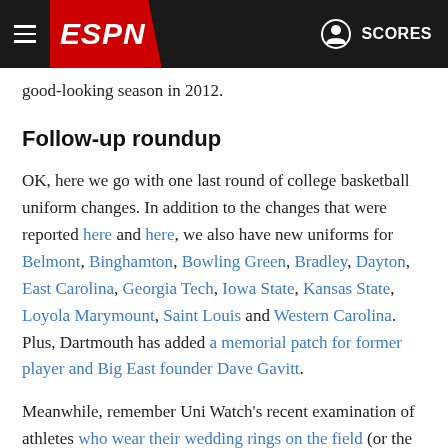ESPN - hamburger menu, ESPN logo, SCORES
good-looking season in 2012.
Follow-up roundup
OK, here we go with one last round of college basketball uniform changes. In addition to the changes that were reported here and here, we also have new uniforms for Belmont, Binghamton, Bowling Green, Bradley, Dayton, East Carolina, Georgia Tech, Iowa State, Kansas State, Loyola Marymount, Saint Louis and Western Carolina. Plus, Dartmouth has added a memorial patch for former player and Big East founder Dave Gavitt.
Meanwhile, remember Uni Watch's recent examination of athletes who wear their wedding rings on the field (or the ice, or the court, as the case might be)? Readers spotted lots of